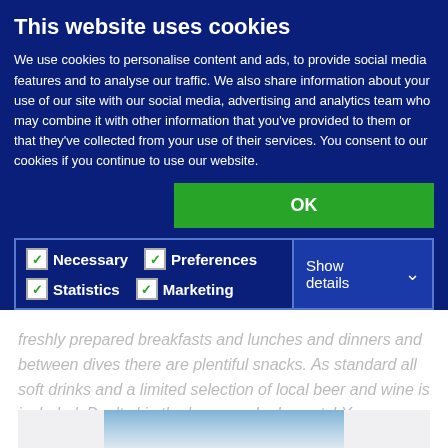This website uses cookies
We use cookies to personalise content and ads, to provide social media features and to analyse our traffic. We also share information about your use of our site with our social media, advertising and analytics team who may combine it with other information that you've provided to them or that they've collected from your use of their services. You consent to our cookies if you continue to use our website.
OK
Necessary  Preferences  Statistics  Marketing  Show details
freshly prepared breakfasts and lunches and dinners and between dives there are plentiful snacks. As standard all soft drinks and a limited selection of local beer and wine is included. Don't skip the homemade desserts! You are on holiday after all.
[Figure (photo): Partial view of sky and clouds at the bottom of the page]